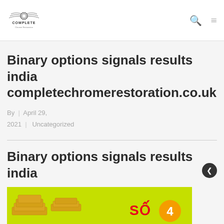COMPLETE Chrome Restoration
Binary options signals results india completechromerestoration.co.uk
By | April 29, 2021 | Uncategorized
Binary options signals results india
[Figure (photo): Gold bars on yellow-green background with text SỐ 4]